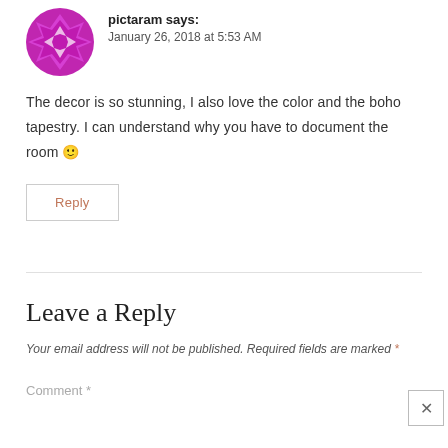[Figure (logo): Pink/magenta geometric snowflake-style avatar icon for user 'pictaram']
pictaram says:
January 26, 2018 at 5:53 AM
The decor is so stunning, I also love the color and the boho tapestry. I can understand why you have to document the room 🙂
Reply
Leave a Reply
Your email address will not be published. Required fields are marked *
Comment *